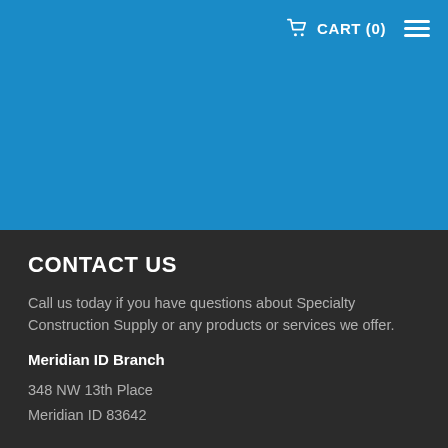CART (0)
CONTACT US
Call us today if you have questions about Specialty Construction Supply or any products or services we offer.
Meridian ID Branch
348 NW 13th Place
Meridian ID 83642